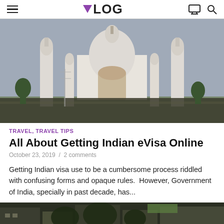▼LOG
[Figure (photo): Taj Mahal with minarets against hazy sky, large crowd of visitors in foreground]
TRAVEL, TRAVEL TIPS
All About Getting Indian eVisa Online
October 23, 2019  /  2 comments
Getting Indian visa use to be a cumbersome process riddled with confusing forms and opaque rules.  However, Government of India, specially in past decade, has...
[Figure (photo): Street scene with trees and buildings, labeled GALLERY]